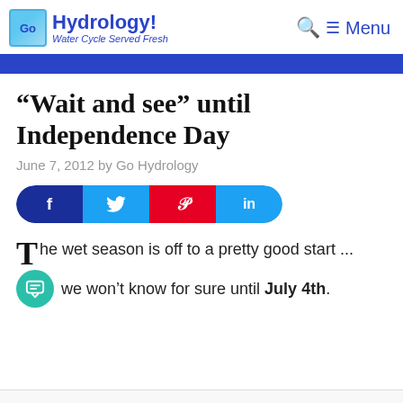Go Hydrology! Water Cycle Served Fresh — Menu
“Wait and see” until Independence Day
June 7, 2012 by Go Hydrology
[Figure (infographic): Social share buttons: Facebook (f), Twitter (bird), Pinterest (P), LinkedIn (in)]
The wet season is off to a pretty good start ...
... we won’t know for sure until July 4th.